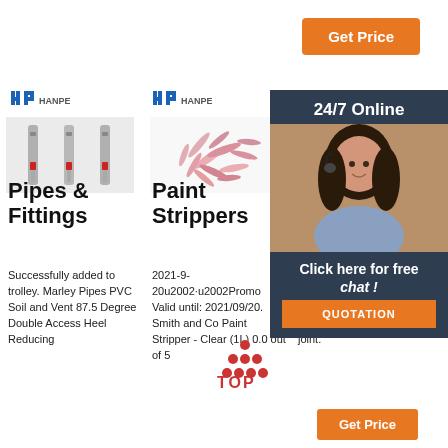[Figure (other): Orange 'Get Price' button at top right]
[Figure (photo): HP logo and product image of Pipes & Fittings (three metal pin connectors with red bands)]
Pipes & Fittings
Successfully added to trolley. Marley Pipes PVC Soil and Vent 87.5 Degree Double Access Heel Reducing
[Figure (photo): HP logo and product image of Paint Strippers (pink/red small cylindrical items scattered)]
Paint Strippers
2021-9-20u2002·u2002Promo Valid until: 2021/09/20. Smith and Co Paint Stripper - Clear (1L) 0.0 out of 5
[Figure (photo): Product image of PVC Plumbing item (blue connector)]
PVC Plumbing
SANS Pressure Class: 16 (1600kPa), with integral rubber ring joint.
[Figure (other): 24/7 Online overlay panel with female agent with headset, 'Click here for free chat!' text and QUOTATION orange button]
[Figure (logo): TOP logo (red dots pyramid with TOP text)]
[Figure (other): Orange 'Get Price' button at bottom right]